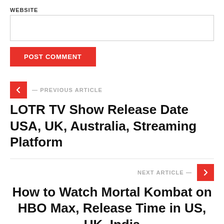WEBSITE
POST COMMENT
— PREVIOUS ARTICLE
LOTR TV Show Release Date USA, UK, Australia, Streaming Platform
NEXT ARTICLE —
How to Watch Mortal Kombat on HBO Max, Release Time in US, UK, India